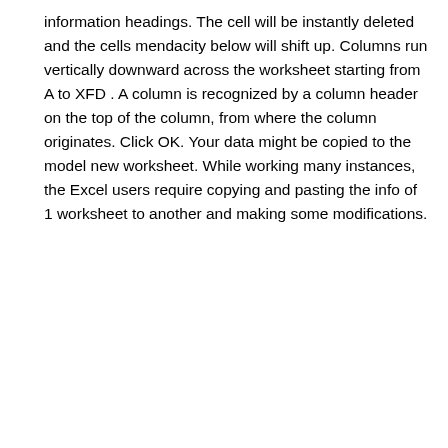information headings. The cell will be instantly deleted and the cells mendacity below will shift up. Columns run vertically downward across the worksheet starting from A to XFD . A column is recognized by a column header on the top of the column, from where the column originates. Click OK. Your data might be copied to the model new worksheet. While working many instances, the Excel users require copying and pasting the info of 1 worksheet to another and making some modifications.